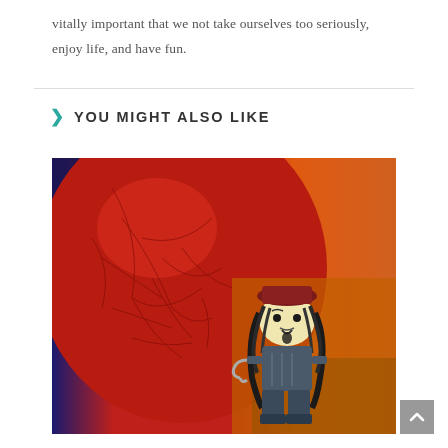vitally important that we not take ourselves too seriously, enjoy life, and have fun.
YOU MIGHT ALSO LIKE
[Figure (photo): A LEGO pirate minifigure (resembling Jack Sparrow) in front of a large red and orange background with web-like patterns. The figure has long dark hair, a dark red hat, and holds a hook.]